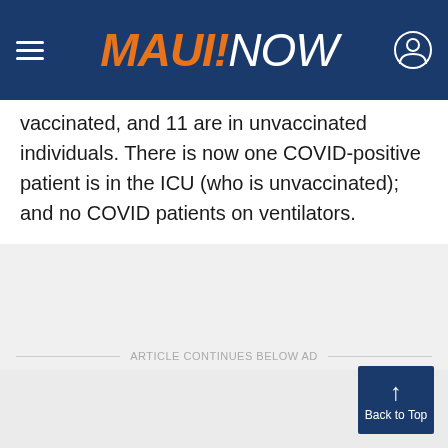MAUI NOW
vaccinated, and 11 are in unvaccinated individuals. There is now one COVID-positive patient is in the ICU (who is unvaccinated); and no COVID patients on ventilators.
ARTICLE CONTINUES BELOW AD